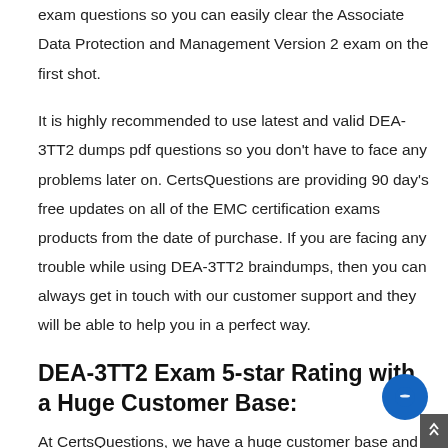exam questions so you can easily clear the Associate Data Protection and Management Version 2 exam on the first shot.
It is highly recommended to use latest and valid DEA-3TT2 dumps pdf questions so you don't have to face any problems later on. CertsQuestions are providing 90 day's free updates on all of the EMC certification exams products from the date of purchase. If you are facing any trouble while using DEA-3TT2 braindumps, then you can always get in touch with our customer support and they will be able to help you in a perfect way.
DEA-3TT2 Exam 5-star Rating with a Huge Customer Base:
At CertsQuestions, we have a huge customer base and all of our EMC DEA-3TT2 exam customers are extremely